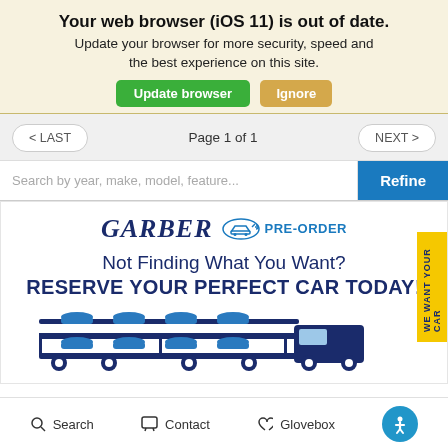Your web browser (iOS 11) is out of date.
Update your browser for more security, speed and the best experience on this site.
Update browser   Ignore
< LAST   Page 1 of 1   NEXT >
Search by year, make, model, feature...   Refine
[Figure (infographic): Garber Pre-Order advertisement banner with logo, text 'Not Finding What You Want? RESERVE YOUR PERFECT CAR TODAY!' and an illustration of a car carrier truck loaded with cars. Side tab reads 'WE WANT YOUR CAR'.]
Search   Contact   Glovebox